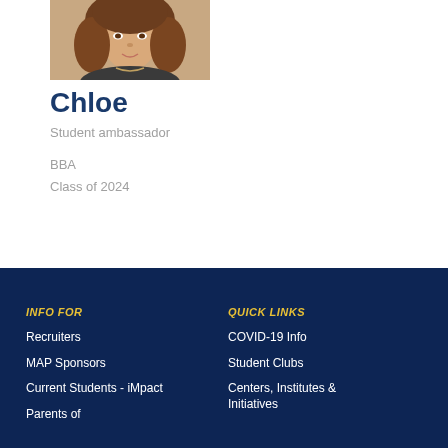[Figure (photo): Portrait photo of student ambassador Chloe, showing her face and upper body with long hair]
Chloe
Student ambassador
BBA
Class of 2024
INFO FOR
Recruiters
MAP Sponsors
Current Students - iMpact
Parents of
QUICK LINKS
COVID-19 Info
Student Clubs
Centers, Institutes & Initiatives